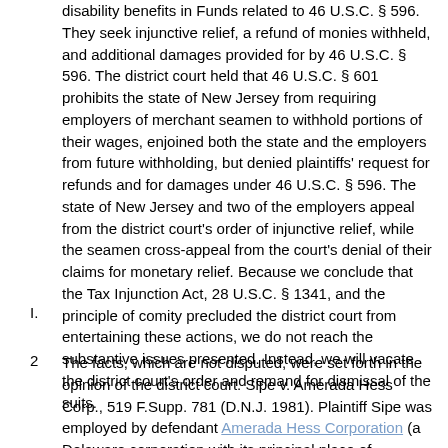disability benefits in Funds related to 46 U.S.C. § 596. They seek injunctive relief, a refund of monies withheld, and additional damages provided for by 46 U.S.C. § 596. The district court held that 46 U.S.C. § 601 prohibits the state of New Jersey from requiring employers of merchant seamen to withhold portions of their wages, enjoined both the state and the employers from future withholding, but denied plaintiffs' request for refunds and for damages under 46 U.S.C. § 596. The state of New Jersey and two of the employers appeal from the district court's order of injunctive relief, while the seamen cross-appeal from the court's denial of their claims for monetary relief. Because we conclude that the Tax Injunction Act, 28 U.S.C. § 1341, and the principle of comity precluded the district court from entertaining these actions, we do not reach the substantive issues presented. Instead, we will vacate the district court's order and remand for dismissal of the suits.
I.
2   The facts, which are not disputed, were set forth in the opinion of the district court. Sipe v. Amerada Hess Corp., 519 F.Supp. 781 (D.N.J. 1981). Plaintiff Sipe was employed by defendant Amerada Hess Corporation (a Delaware corporation with its principal place of business in New Jersey) to serve as an able-bodied seaman on the